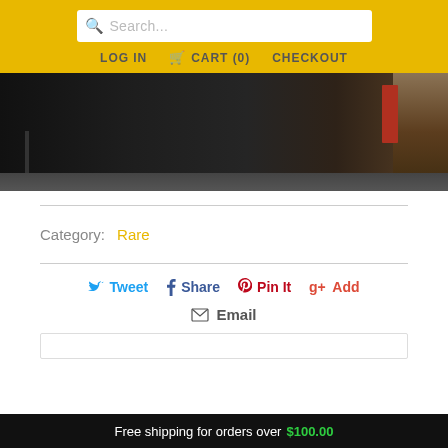Search... | LOG IN | CART (0) | CHECKOUT
[Figure (photo): Partial view of a person in dark clothing on a cobblestone street, with a red object and wooden frame visible on the right side]
Category: Rare
Tweet  Share  Pin It  Add
Email
Free shipping for orders over $100.00